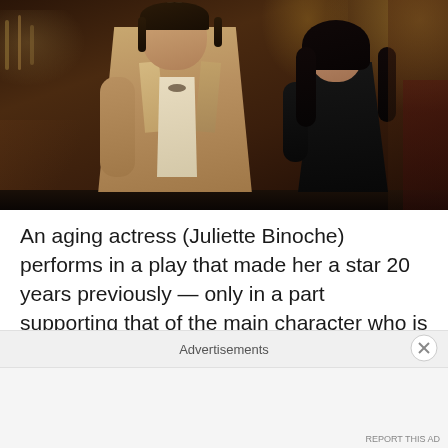[Figure (photo): Two women in a dimly lit bar setting. The woman in the foreground wears a beige/tan blazer over a light shirt, with dark hair pulled back. A younger woman with long dark hair stands behind her, wearing a dark top. The background shows a bar with bottles and warm lighting.]
An aging actress (Juliette Binoche) performs in a play that made her a star 20 years previously — only in a part supporting that of the main character who is now incarnated by an up-and-coming actress (Chloe Grace Moretz) reminiscent of her younger self. This sounds an awful lot like All About Eve to me but early critical notices
Advertisements